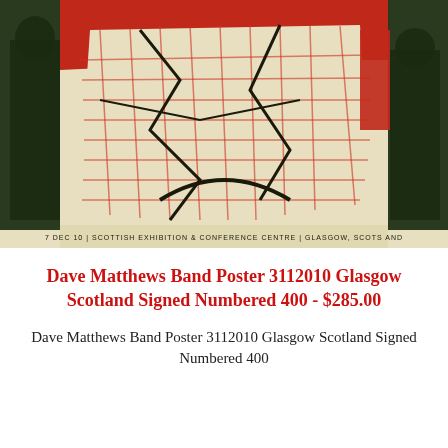[Figure (illustration): Concert poster artwork for Dave Matthews Band, showing stylized figures with a plaid/tartan pattern map overlay in red, green, and cream tones. Bottom text reads venue and date information for Scottish Exhibition & Conference Centre, Glasgow Scotland.]
Dave Matthews Band Poster 3112010 Glasgow Scotland Signed Numbered 400 - $285.00
Dave Matthews Band Poster 3112010 Glasgow Scotland Signed Numbered 400